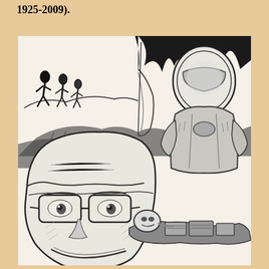1925-2009).
[Figure (illustration): Black and white ink illustration showing multiple scenes: soldiers or figures running in the background upper left, a central large face of a man wearing glasses and a helmet smiling, a figure in a space suit or protective gear upper right, and a person lying down with equipment in the lower center-right area. The style is detailed crosshatch pen-and-ink drawing.]